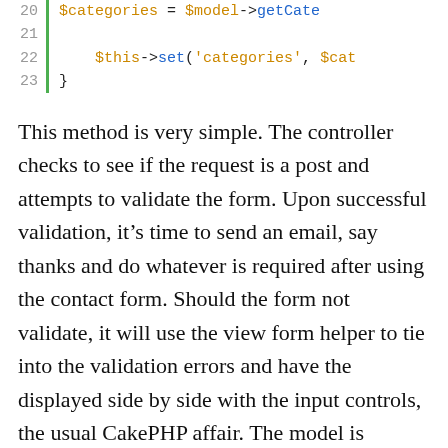[Figure (screenshot): Code snippet showing PHP lines 20-23 with line numbers, green bar, and syntax highlighting]
This method is very simple. The controller checks to see if the request is a post and attempts to validate the form. Upon successful validation, it's time to send an email, say thanks and do whatever is required after using the contact form. Should the form not validate, it will use the view form helper to tie into the validation errors and have the displayed side by side with the input controls, the usual CakePHP affair. The model is initialised at the start of the method using the ClassRegistry static class. Before the view is rendered, the categories are assigned to the view from the model method